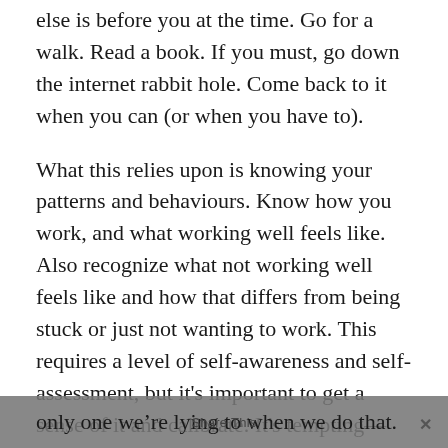else is before you at the time. Go for a walk. Read a book. If you must, go down the internet rabbit hole. Come back to it when you can (or when you have to).
What this relies upon is knowing your patterns and behaviours. Know how you work, and what working well feels like. Also recognize what not working well feels like and how that differs from being stuck or just not wanting to work. This requires a level of self-awareness and self-assessment, but it's important to get a sense of it and calibrate. It's tempting—and easy—to take bog-standard procrastination and slap a label of “I'm just not feeling it today” on it. And we're the only one we're lying to when we do that.
Share This